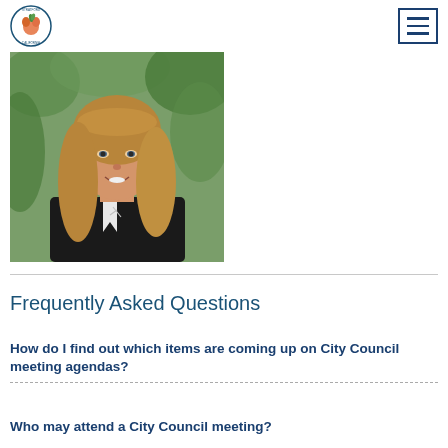[City of Stratford, California logo] [Navigation menu button]
[Figure (photo): Professional headshot of a smiling woman with long blonde-brown hair, wearing a black sleeveless top with white trim and a cross necklace, photographed outdoors with green foliage in the background.]
Frequently Asked Questions
How do I find out which items are coming up on City Council meeting agendas?
Who may attend a City Council meeting?